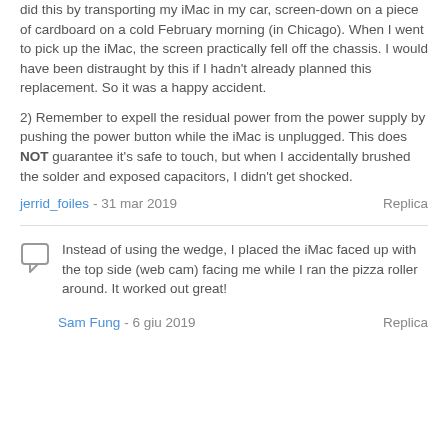did this by transporting my iMac in my car, screen-down on a piece of cardboard on a cold February morning (in Chicago). When I went to pick up the iMac, the screen practically fell off the chassis. I would have been distraught by this if I hadn't already planned this replacement. So it was a happy accident.
2) Remember to expell the residual power from the power supply by pushing the power button while the iMac is unplugged. This does NOT guarantee it's safe to touch, but when I accidentally brushed the solder and exposed capacitors, I didn't get shocked.
jerrid_foiles - 31 mar 2019   Replica
Instead of using the wedge, I placed the iMac faced up with the top side (web cam) facing me while I ran the pizza roller around. It worked out great!
Sam Fung - 6 giu 2019   Replica